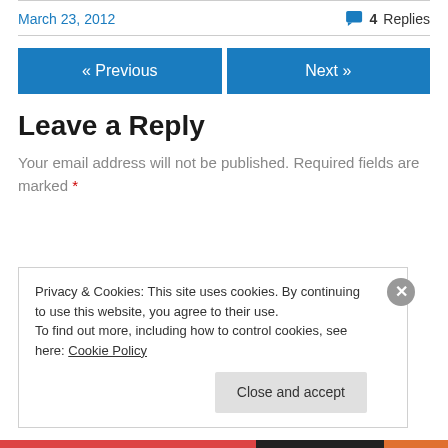March 23, 2012
4 Replies
« Previous
Next »
Leave a Reply
Your email address will not be published. Required fields are marked *
Privacy & Cookies: This site uses cookies. By continuing to use this website, you agree to their use. To find out more, including how to control cookies, see here: Cookie Policy
Close and accept